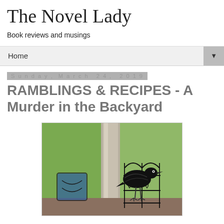The Novel Lady
Book reviews and musings
Home ▼
Sunday, March 24, 2019
RAMBLINGS & RECIPES - A Murder in the Backyard
[Figure (photo): A black crow perched on decorative wrought iron furniture on a backyard patio, with green lawn and a stone/concrete pillar visible in the background.]